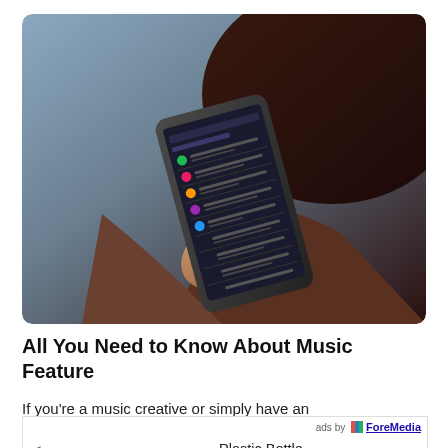[Figure (photo): Person holding a smartphone displaying a music app (Spotify-like) with a playlist, dark background, hand with painted nails, person with dark hair visible in background.]
All You Need to Know About Music Feature
If you're a music creative or simply have an
[Figure (other): Ad unit by ForeMedia showing 'Plastic Bottle Recycling &#8211; Dispose Of Y...' with ads by ForeMedia label and navigation arrow.]